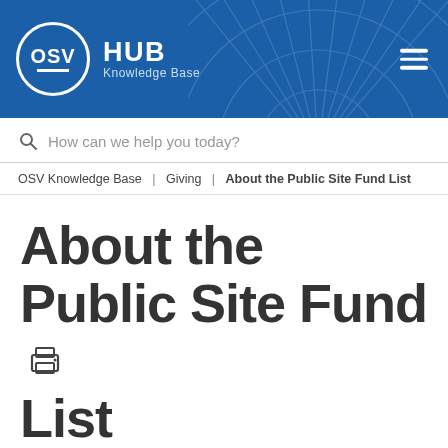OSV HUB Knowledge Base
How can we help you today?
OSV Knowledge Base | Giving | About the Public Site Fund List
About the Public Site Fund List
This article describes information provided to the donor on the Public Site Fund List.